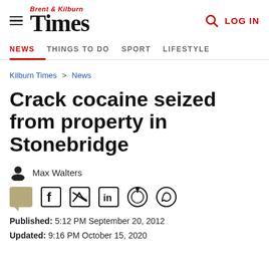Brent & Kilburn Times — NEWS | THINGS TO DO | SPORT | LIFESTYLE | LOG IN
Kilburn Times > News
Crack cocaine seized from property in Stonebridge
Max Walters
Published: 5:12 PM September 20, 2012
Updated: 9:16 PM October 15, 2020